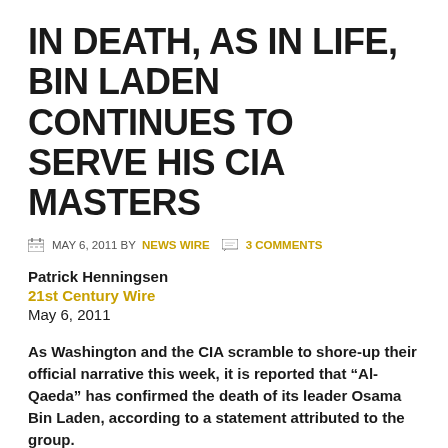IN DEATH, AS IN LIFE, BIN LADEN CONTINUES TO SERVE HIS CIA MASTERS
MAY 6, 2011 BY NEWS WIRE  3 COMMENTS
Patrick Henningsen
21st Century Wire
May 6, 2011
As Washington and the CIA scramble to shore-up their official narrative this week, it is reported that “Al-Qaeda” has confirmed the death of its leader Osama Bin Laden, according to a statement attributed to the group.
Following predictable intelligence agency protocol, this scripted statement was posted on a series of seemingly random “Jihadist” internet forums.